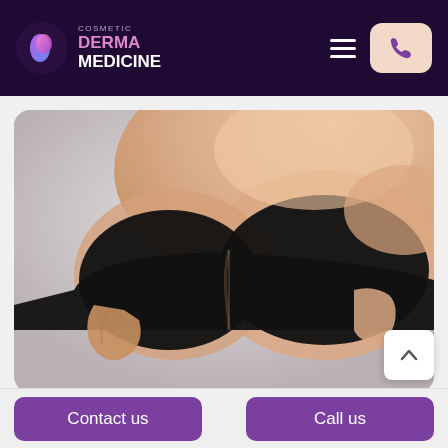Cosmetic Derma Medicine
[Figure (photo): Close-up of a woman's torso wearing a black strapless bra, hands holding/adjusting the bra, representing breast augmentation or cosmetic procedure marketing]
Contact us
Call us